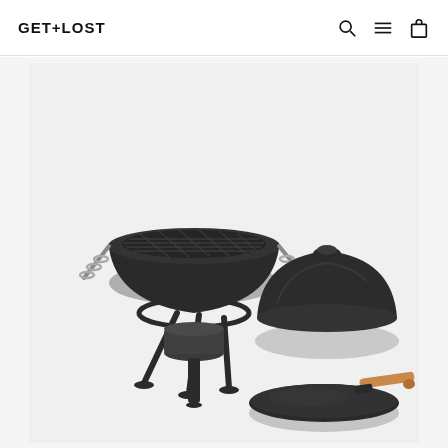GET+LOST
[Figure (photo): Product photo of a cast iron BBQ/grill set on a white background. The set includes a round wok-style grill pan with crosshatch grate and coiled spring handles, sitting on a tripod stand with a chimney starter below. To the right are a domed cast iron lid with handle, and a flat round cast iron griddle plate with a wooden-handled lifter tool.]